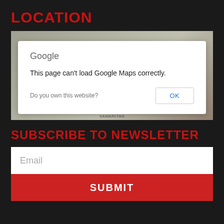LOCATION
[Figure (screenshot): Google Maps error dialog overlaid on a blurred map background. Dialog shows 'Google' header, message 'This page can’t load Google Maps correctly.', text 'Do you own this website?' and an OK button. Map background shows watermark text 'For development purposes only' and 'GOOD SAMARITAN'.]
SUBSCRIBE TO NEWSLETTER
Email
SUBMIT